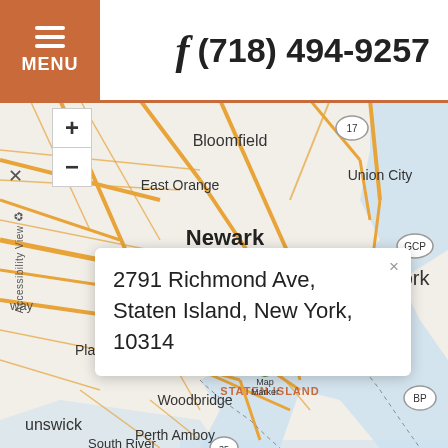[Figure (screenshot): Website header with hamburger menu button labeled MENU on orange/brown background on the left, and Facebook icon with phone number (718) 494-9257 on the right]
[Figure (map): OpenStreetMap showing the New York / New Jersey area including Staten Island, Newark, Bloomfield, East Orange, Union City, Plainfield, Woodbridge, Perth Amboy, Brunswick, South River, and Lower New York Bay. A map popup shows the address: 2791 Richmond Ave, Staten Island, New York, 10314]
2791 Richmond Ave, Staten Island, New York, 10314